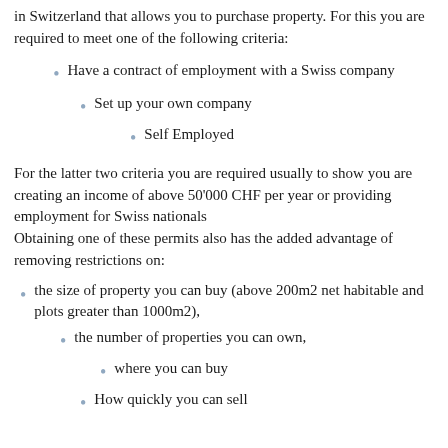in Switzerland that allows you to purchase property. For this you are required to meet one of the following criteria:
Have a contract of employment with a Swiss company
Set up your own company
Self Employed
For the latter two criteria you are required usually to show you are creating an income of above 50'000 CHF per year or providing employment for Swiss nationals
Obtaining one of these permits also has the added advantage of removing restrictions on:
the size of property you can buy (above 200m2 net habitable and plots greater than 1000m2),
the number of properties you can own,
where you can buy
How quickly you can sell